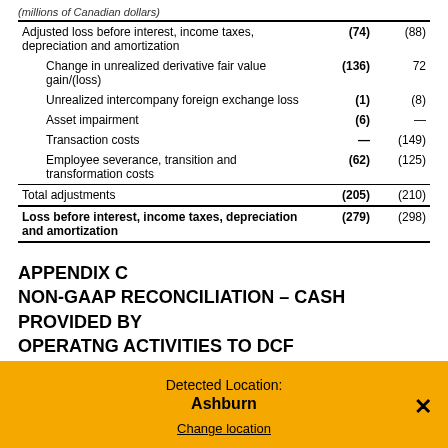|  |  |  |
| --- | --- | --- |
| (millions of Canadian dollars) |  |  |
| Adjusted loss before interest, income taxes, depreciation and amortization | (74) | (88) |
| Change in unrealized derivative fair value gain/(loss) | (136) | 72 |
| Unrealized intercompany foreign exchange loss | (1) | (8) |
| Asset impairment | (6) | — |
| Transaction costs | — | (149) |
| Employee severance, transition and transformation costs | (62) | (125) |
| Total adjustments | (205) | (210) |
| Loss before interest, income taxes, depreciation and amortization | (279) | (298) |
APPENDIX C
NON-GAAP RECONCILIATION – CASH PROVIDED BY OPERATNG ACTIVITIES TO DCF
Detected Location: Ashburn
Change location